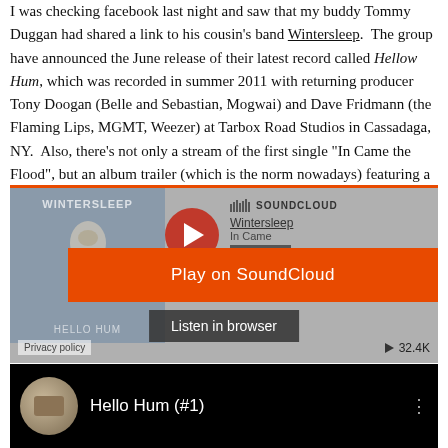I was checking facebook last night and saw that my buddy Tommy Duggan had shared a link to his cousin's band Wintersleep. The group have announced the June release of their latest record called Hellow Hum, which was recorded in summer 2011 with returning producer Tony Doogan (Belle and Sebastian, Mogwai) and Dave Fridmann (the Flaming Lips, MGMT, Weezer) at Tarbox Road Studios in Cassadaga, NY. Also, there's not only a stream of the first single "In Came the Flood", but an album trailer (which is the norm nowadays) featuring a clip of another "slow, brooding new song".
[Figure (screenshot): SoundCloud embed widget for Wintersleep 'In Came the Flood' with orange 'Play on SoundCloud' overlay button and 'Listen in browser' button. Shows album art for HELLO HUM, play button, track info, Share button, Privacy policy link, and 32.4K plays count.]
[Figure (screenshot): YouTube embed showing 'Hello Hum (#1)' with circular album thumbnail and three-dot menu icon on dark background.]